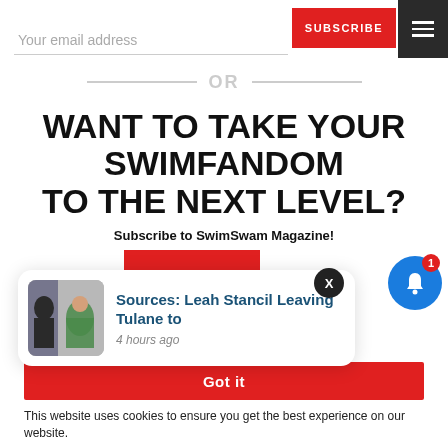Your email address
SUBSCRIBE
OR
WANT TO TAKE YOUR SWIMFANDOM TO THE NEXT LEVEL?
Subscribe to SwimSwam Magazine!
Sources: Leah Stancil Leaving Tulane to
4 hours ago
Got it
This website uses cookies to ensure you get the best experience on our website.